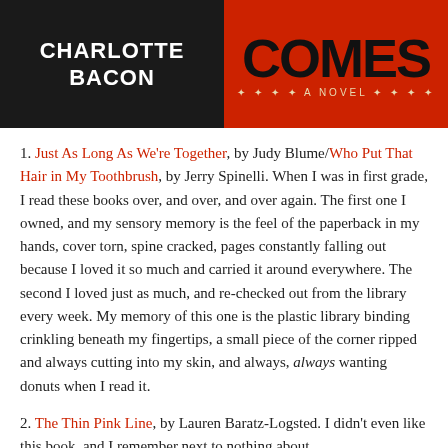[Figure (photo): Left half: dark/black background with white bold text reading 'CHARLOTTE BACON'. Right half: red background with bold black text reading 'COMES' and subtitle 'A NOVEL'.]
1. Just As Long As We're Together, by Judy Blume/Who Put That Hair in My Toothbrush, by Jerry Spinelli. When I was in first grade, I read these books over, and over, and over again. The first one I owned, and my sensory memory is the feel of the paperback in my hands, cover torn, spine cracked, pages constantly falling out because I loved it so much and carried it around everywhere. The second I loved just as much, and re-checked out from the library every week. My memory of this one is the plastic library binding crinkling beneath my fingertips, a small piece of the corner ripped and always cutting into my skin, and always, always wanting donuts when I read it.
2. The Thin Pink Line, by Lauren Baratz-Logsted. I didn't even like this book, and I remember next to nothing about